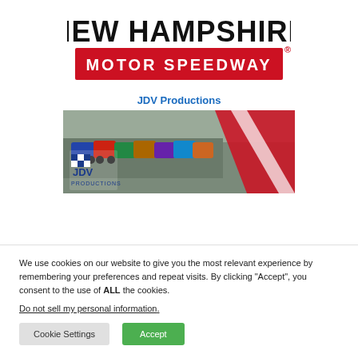[Figure (logo): New Hampshire Motor Speedway logo with bold black text 'NEW HAMPSHIRE' and red banner reading 'MOTOR SPEEDWAY' with registered trademark symbol]
JDV Productions
[Figure (photo): JDV Productions banner image showing racing cars lined up on a track with the JDV Productions logo (checkered flag pattern) and red/white diagonal stripe]
We use cookies on our website to give you the most relevant experience by remembering your preferences and repeat visits. By clicking “Accept”, you consent to the use of ALL the cookies.
Do not sell my personal information.
Cookie Settings
Accept